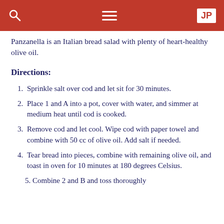Navigation bar with search, menu, and JP button
Panzanella is an Italian bread salad with plenty of heart-healthy olive oil.
Directions:
Sprinkle salt over cod and let sit for 30 minutes.
Place 1 and A into a pot, cover with water, and simmer at medium heat until cod is cooked.
Remove cod and let cool. Wipe cod with paper towel and combine with 50 cc of olive oil. Add salt if needed.
Tear bread into pieces, combine with remaining olive oil, and toast in oven for 10 minutes at 180 degrees Celsius.
Combine 2 and B and toss thoroughly